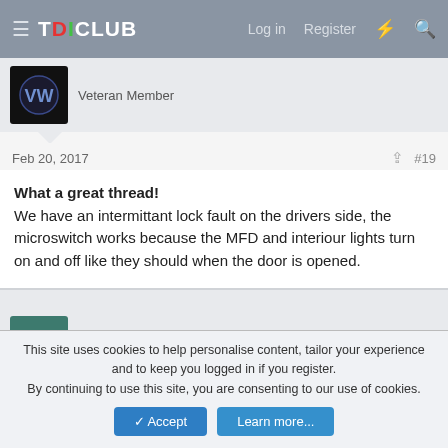TDICLUB | Log in | Register
Veteran Member
Feb 20, 2017  #19
What a great thread!
We have an intermittant lock fault on the drivers side, the microswitch works because the MFD and interiour lights turn on and off like they should when the door is opened.
bobthefarmer
Veteran Member
Mar 13, 2017  #20
This site uses cookies to help personalise content, tailor your experience and to keep you logged in if you register.
By continuing to use this site, you are consenting to our use of cookies.